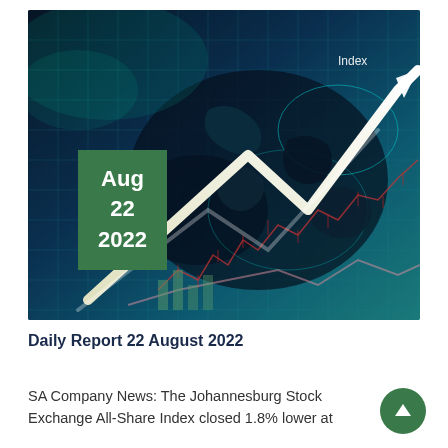[Figure (photo): Financial markets hero image showing a globe with digital grid overlay, stock market chart arrows pointing upward, and candlestick chart elements in teal, white and red tones. Green date box overlay shows Aug 22 2022.]
Daily Report 22 August 2022
SA Company News: The Johannesburg Stock Exchange All-Share Index closed 1.8% lower at